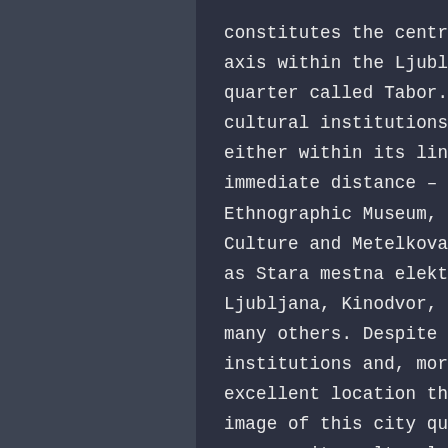constitutes the central cultural axis within the Ljubljana city quarter called Tabor. Several cultural institutions are located either within its line or in its immediate distance – the Slovene Ethnographic Museum, the Ministry of Culture and Metelkova City, as well as Stara mestna elektrarna – Elektro Ljubljana, Kinodvor, Kinoteka and many others. Despite the listed institutions and, moreover, the excellent location they inhabit, the image of this city quarter fails to express its cultural character. The reason for this may be the lack of public